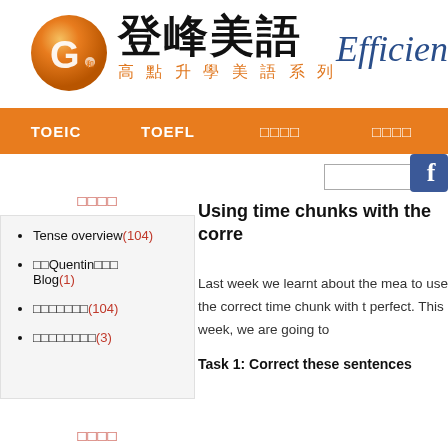[Figure (logo): 登峰美語 logo with orange sphere containing G letter]
登峰美語 高點升學美語系列
Efficient
TOEIC | TOEFL | □□□□ | □□□□
□□□□
Tense overview(104)
□□Quentin□□□ Blog(1)
□□□□□□□(104)
□□□□□□□□(3)
□□□□
Using time chunks with the corre
Last week we learnt about the mea to use the correct time chunk with t perfect. This week, we are going to
Task 1: Correct these sentences